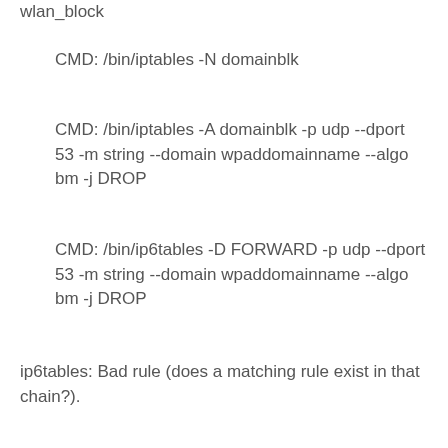wlan_block
CMD: /bin/iptables -N domainblk
CMD: /bin/iptables -A domainblk -p udp --dport 53 -m string --domain wpaddomainname --algo bm -j DROP
CMD: /bin/ip6tables -D FORWARD -p udp --dport 53 -m string --domain wpaddomainname --algo bm -j DROP
ip6tables: Bad rule (does a matching rule exist in that chain?).
CMD: /bin/ip6tables -A FORWARD -p udp --dport 53 -m string --domain wpaddomainname --algo bm -j DROP
CMD: /bin/iptables -A INPUT -j domainblk
CMD: /bin/iptables -A FORWARD -j domainblk